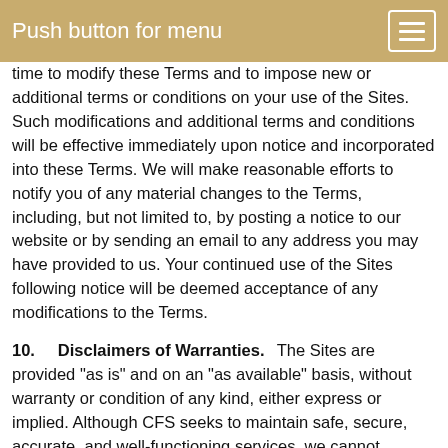Push button for menu
time to modify these Terms and to impose new or additional terms or conditions on your use of the Sites. Such modifications and additional terms and conditions will be effective immediately upon notice and incorporated into these Terms. We will make reasonable efforts to notify you of any material changes to the Terms, including, but not limited to, by posting a notice to our website or by sending an email to any address you may have provided to us. Your continued use of the Sites following notice will be deemed acceptance of any modifications to the Terms.
10. Disclaimers of Warranties. The Sites are provided "as is" and on an "as available" basis, without warranty or condition of any kind, either express or implied. Although CFS seeks to maintain safe, secure, accurate, and well-functioning services, we cannot guarantee the continuous operation of or access to our Sites, and there may at times be inadvertent technical or factual errors or inaccuracies. CFS specifically (but without limitation) disclaims (i) any implied warranties of merchantability, fitness for a particular purpose, quiet enjoyment, or non-infringement; and (ii) any warranties arising out of course-of-dealing, usage, or trade. You assume all risk for any/all damages that